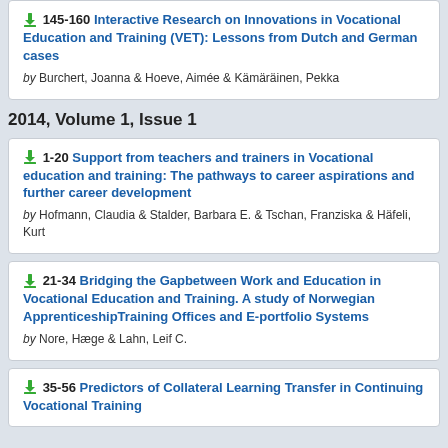145-160 Interactive Research on Innovations in Vocational Education and Training (VET): Lessons from Dutch and German cases by Burchert, Joanna & Hoeve, Aimée & Kämäräinen, Pekka
2014, Volume 1, Issue 1
1-20 Support from teachers and trainers in Vocational education and training: The pathways to career aspirations and further career development by Hofmann, Claudia & Stalder, Barbara E. & Tschan, Franziska & Häfeli, Kurt
21-34 Bridging the Gapbetween Work and Education in Vocational Education and Training. A study of Norwegian ApprenticeshipTraining Offices and E-portfolio Systems by Nore, Hæge & Lahn, Leif C.
35-56 Predictors of Collateral Learning Transfer in Continuing Vocational Training